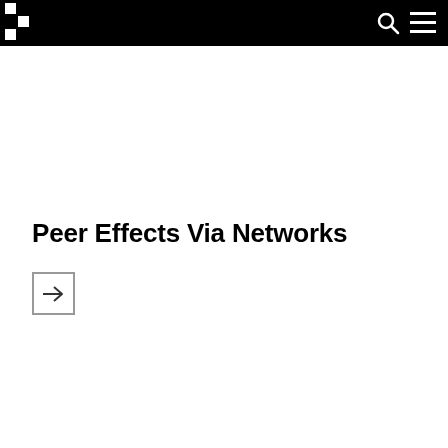Peer Effects Via Networks — site navigation bar with logo, search and menu icons
Peer Effects Via Networks
[Figure (other): Arrow icon in a square box, acting as a navigation link button]